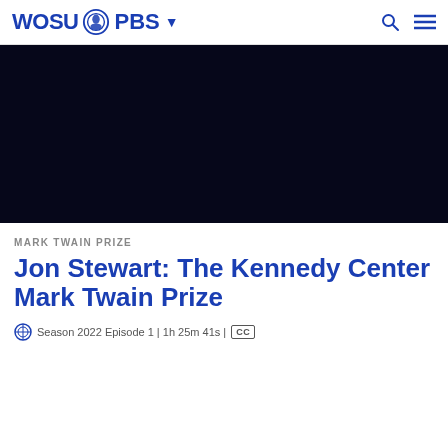WOSU PBS
[Figure (screenshot): Black video player area]
MARK TWAIN PRIZE
Jon Stewart: The Kennedy Center Mark Twain Prize
Season 2022 Episode 1 | 1h 25m 41s | CC